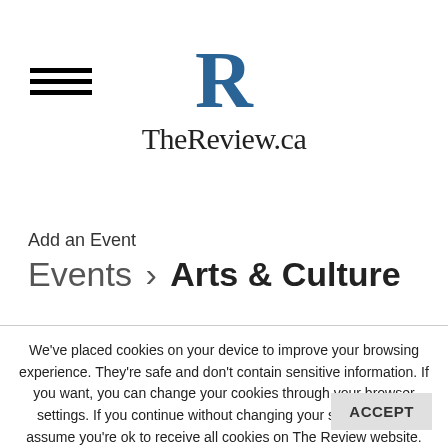[Figure (logo): TheReview.ca logo with large blue serif R and site name below]
Add an Event
Events › Arts & Culture
We've placed cookies on your device to improve your browsing experience. They're safe and don't contain sensitive information. If you want, you can change your cookies through your browser settings. If you continue without changing your settings, we'll assume you're ok to receive all cookies on The Review website. For more information view our privacy policy.
ACCEPT